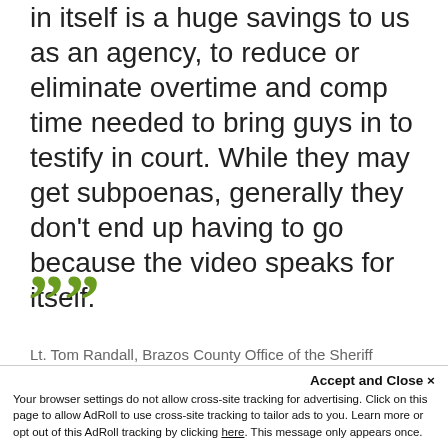in itself is a huge savings to us as an agency, to reduce or eliminate overtime and comp time needed to bring guys in to testify in court. While they may get subpoenas, generally they don't end up having to go because the video speaks for itself.
””
Lt. Tom Randall, Brazos County Office of the Sheriff
Accept and Close ×
Your browser settings do not allow cross-site tracking for advertising. Click on this page to allow AdRoll to use cross-site tracking to tailor ads to you. Learn more or opt out of this AdRoll tracking by clicking here. This message only appears once.